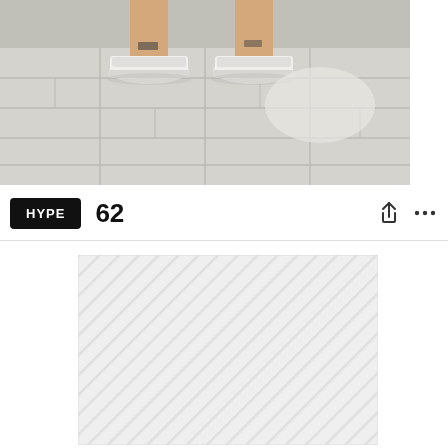[Figure (photo): Photo of person's legs from the knee down wearing white sneakers, standing on light gray stone tile pavement. Taken from a slightly elevated angle showing tiled ground and partial view of wall behind.]
HYPE  62
[Figure (photo): Partially loaded or placeholder image with diagonal stripe pattern in light gray, indicating an image loading placeholder.]